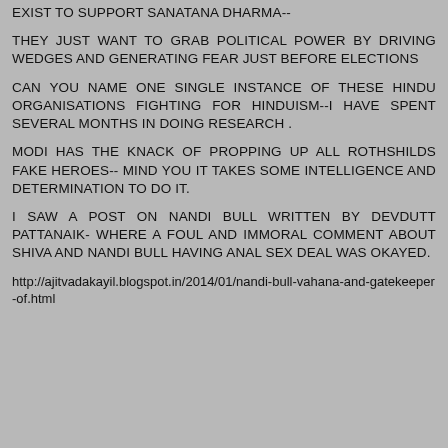EXIST TO SUPPORT SANATANA DHARMA--
THEY JUST WANT TO GRAB POLITICAL POWER BY DRIVING WEDGES AND GENERATING FEAR JUST BEFORE ELECTIONS
CAN YOU NAME ONE SINGLE INSTANCE OF THESE HINDU ORGANISATIONS FIGHTING FOR HINDUISM--I HAVE SPENT SEVERAL MONTHS IN DOING RESEARCH .
MODI HAS THE KNACK OF PROPPING UP ALL ROTHSHILDS FAKE HEROES-- MIND YOU IT TAKES SOME INTELLIGENCE AND DETERMINATION TO DO IT.
I SAW A POST ON NANDI BULL WRITTEN BY DEVDUTT PATTANAIK- WHERE A FOUL AND IMMORAL COMMENT ABOUT SHIVA AND NANDI BULL HAVING ANAL SEX DEAL WAS OKAYED.
http://ajitvadakayil.blogspot.in/2014/01/nandi-bull-vahana-and-gatekeeper-of.html